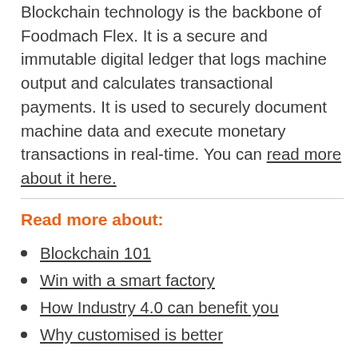Blockchain technology is the backbone of Foodmach Flex. It is a secure and immutable digital ledger that logs machine output and calculates transactional payments. It is used to securely document machine data and execute monetary transactions in real-time. You can read more about it here.
Read more about:
Blockchain 101
Win with a smart factory
How Industry 4.0 can benefit you
Why customised is better